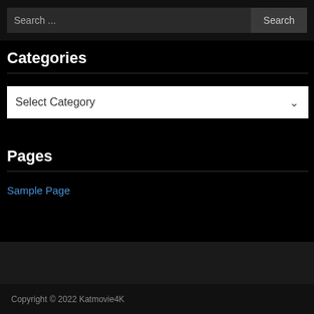Search ...
Search
Categories
Select Category
Pages
Sample Page
Copyright © 2022 Katmovie4K